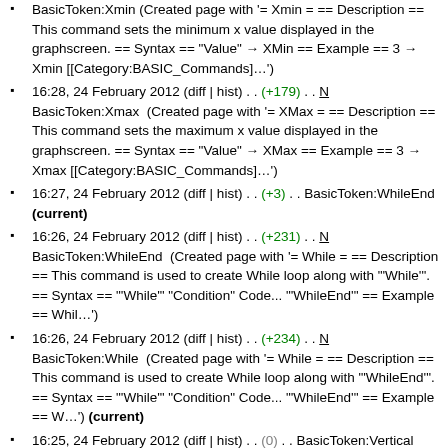BasicToken:Xmin (Created page with '= Xmin = == Description == This command sets the minimum x value displayed in the graphscreen. == Syntax == "Value" → XMin == Example == 3 → Xmin [[Category:BASIC_Commands]…')
16:28, 24 February 2012 (diff | hist) . . (+179) . . N BasicToken:Xmax (Created page with '= XMax = == Description == This command sets the maximum x value displayed in the graphscreen. == Syntax == "Value" → XMax == Example == 3 → Xmax [[Category:BASIC_Commands]…')
16:27, 24 February 2012 (diff | hist) . . (+3) . . BasicToken:WhileEnd (current)
16:26, 24 February 2012 (diff | hist) . . (+231) . . N BasicToken:WhileEnd (Created page with '= While = == Description == This command is used to create While loop along with "'While'". == Syntax == "'While'" "Condition" Code... "'WhileEnd'" == Example == Whil…')
16:26, 24 February 2012 (diff | hist) . . (+234) . . N BasicToken:While (Created page with '= While = == Description == This command is used to create While loop along with "'WhileEnd'". == Syntax == "'While'" "Condition" Code... "'WhileEnd'" == Example == W…') (current)
16:25, 24 February 2012 (diff | hist) . . (0) . . BasicToken:Vertical (current)
16:24, 24 February 2012 (diff | hist) . . (+193) . . N BasicToken:Vertical (Created page with '= Vertical = == Description == This command draws the vertical line x=given…